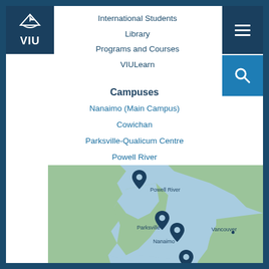[Figure (logo): VIU logo with ship/wave icon and text VIU on dark blue background]
International Students
Library
Programs and Courses
VIULearn
Campuses
Nanaimo (Main Campus)
Cowichan
Parksville-Qualicum Centre
Powell River
[Figure (map): Map showing VIU campus locations: Powell River (north), Parksville (mid-west), Nanaimo (mid), Cowichan (south), with Vancouver labeled to the east. Map shows coastline of British Columbia with blue water and green land.]